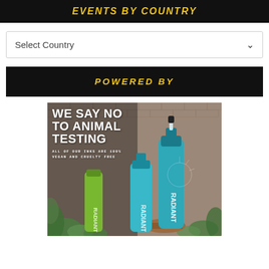EVENTS BY COUNTRY
Select Country
POWERED BY
[Figure (photo): Advertisement photo for Radiant tattoo inks showing two teal/turquoise squeeze bottles of Radiant brand tattoo ink alongside a green bottle, placed on a wooden surface surrounded by green plants against a brick wall background. Text overlay reads: WE SAY NO TO ANIMAL TESTING. ALL OF OUR INKS ARE 100% VEGAN AND CRUELTY FREE]